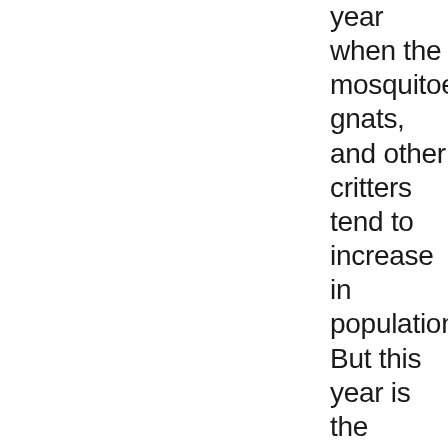year when the mosquitoes, gnats, and other critters tend to increase in population. But this year is the WORST I've seen it in my 5-plus years here. In those areas where it is possible, it seems some spraying/other mitigation is in order to keep the critters in check! It got so bad last